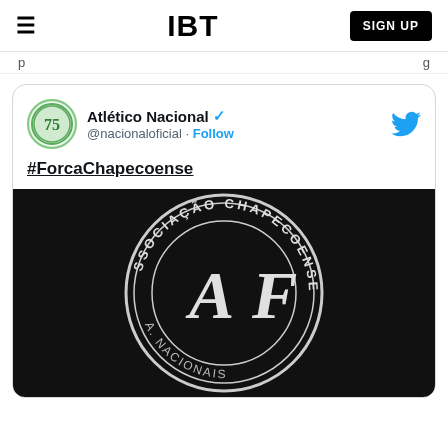IBT | SIGN UP
p ... g
[Figure (screenshot): Tweet from Atlético Nacional (@nacionaloficial) with verified badge, showing '#ForcaChapecoense' hashtag and a black-and-white image of the Associação Chapecoense de Futebol badge/crest]